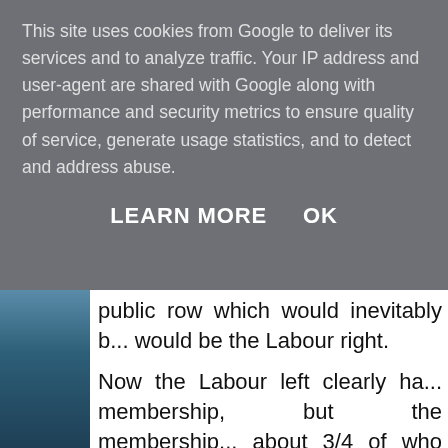This site uses cookies from Google to deliver its services and to analyze traffic. Your IP address and user-agent are shared with Google along with performance and security metrics to ensure quality of service, generate usage statistics, and to detect and address abuse.
LEARN MORE    OK
public row which would inevitably b... would be the Labour right.
Now the Labour left clearly ha... membership, but the membership... about 3/4 of who are on the right o... the support of the biggest and th...